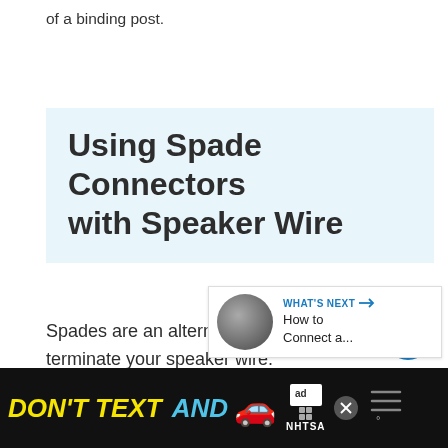of a binding post.
Using Spade Connectors with Speaker Wire
Spades are an alternative way to terminate your speaker wire.
[Figure (infographic): Social interaction buttons: heart/like button (teal circle with heart icon), like count 113, share button]
[Figure (infographic): What's Next panel showing a circular thumbnail of a speaker/cable and text 'How to Connect a...' with arrow]
[Figure (infographic): Advertisement banner: DON'T TEXT AND [car emoji] ad by NHTSA with close button and weather icon]